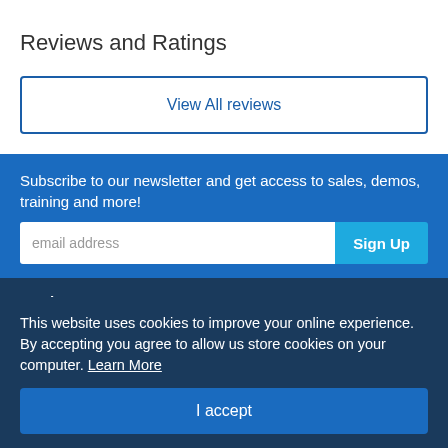Reviews and Ratings
View All reviews
Subscribe to our newsletter and get access to sales, demos, training and more!
email address
Sign Up
Products
Resources
Contacts
This website uses cookies to improve your online experience. By accepting you agree to allow us store cookies on your computer. Learn More
I accept